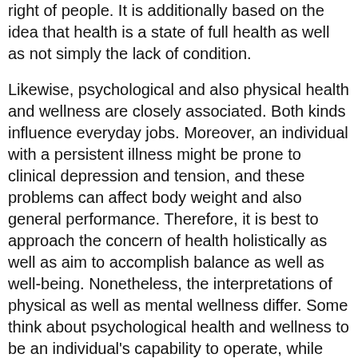right of people. It is additionally based on the idea that health is a state of full health as well as not simply the lack of condition.
Likewise, psychological and also physical health and wellness are closely associated. Both kinds influence everyday jobs. Moreover, an individual with a persistent illness might be prone to clinical depression and tension, and these problems can affect body weight and also general performance. Therefore, it is best to approach the concern of health holistically as well as aim to accomplish balance as well as well-being. Nonetheless, the interpretations of physical as well as mental wellness differ. Some think about psychological health and wellness to be an individual's capability to operate, while others think that psychological wellness refers to the lack of a mental disorder.
Nonetheless, the interpretation of wellness inequality needs a much more nuanced method. It is very important to keep in mind that health inequalities are not just unequal – they can be methodical and also avoidable. Inequalities of health and wellness are the outcome of unjustified differences in the